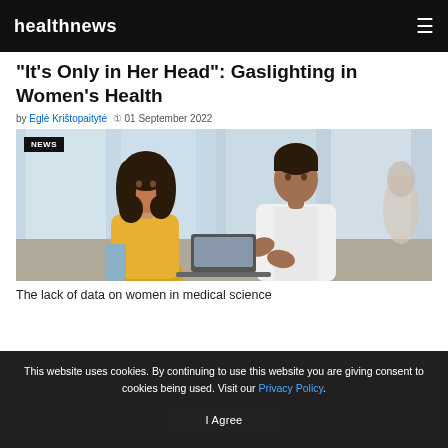healthnews
"It's Only in Her Head": Gaslighting in Women's Health
by Eglė Krištopaitytė  01 September 2022
[Figure (photo): A woman in a yellow sweater sits across from a male doctor in a white coat who gestures with his hands, appearing to explain something. Tall windows are visible in the background. A NEWS badge appears in the upper left.]
The lack of data on women in medical science
This website uses cookies. By continuing to use this website you are giving consent to cookies being used. Visit our Privacy Policy.
I Agree